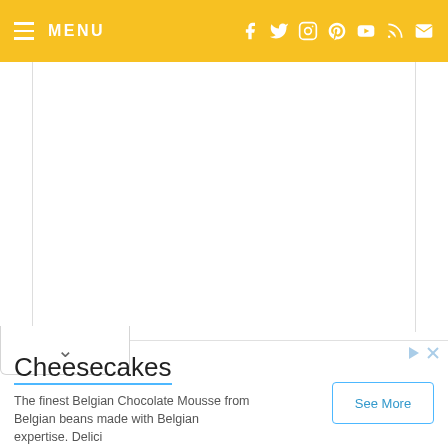MENU  [navigation with social icons: Facebook, Twitter, Instagram, Pinterest, YouTube, RSS, Email]
[Figure (other): White blank content area of a webpage, bordered with light tan vertical lines on left and right sides. A collapse/expand tab with a chevron down arrow appears at the bottom left of the content area.]
Cheesecakes
The finest Belgian Chocolate Mousse from Belgian beans made with Belgian expertise. Delici
See More